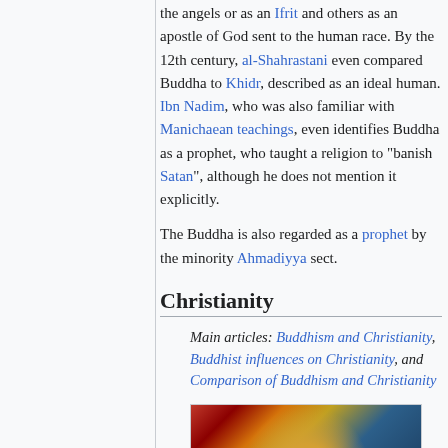the angels or as an Ifrit and others as an apostle of God sent to the human race. By the 12th century, al-Shahrastani even compared Buddha to Khidr, described as an ideal human. Ibn Nadim, who was also familiar with Manichaean teachings, even identifies Buddha as a prophet, who taught a religion to "banish Satan", although he does not mention it explicitly.
The Buddha is also regarded as a prophet by the minority Ahmadiyya sect.
Christianity
Main articles: Buddhism and Christianity, Buddhist influences on Christianity, and Comparison of Buddhism and Christianity
[Figure (photo): A mosaic or artwork depicting a figure, with warm red, orange, and gold tones on the left and blue tones on the right background.]